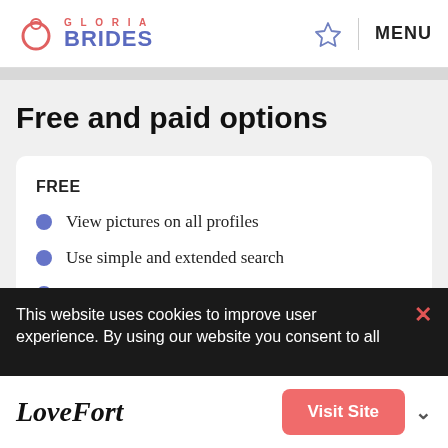GLORIA BRIDES — MENU
Free and paid options
FREE
View pictures on all profiles
Use simple and extended search
Contact support
This website uses cookies to improve user
LoveFort — Visit Site